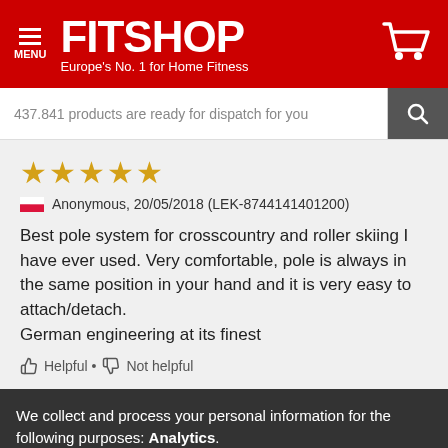FITSHOP Europe's No. 1 for Home Fitness
437.841 products are ready for dispatch for you
★★★★★
Anonymous, 20/05/2018 (LEK-8744141401200)
Best pole system for crosscountry and roller skiing I have ever used. Very comfortable, pole is always in the same position in your hand and it is very easy to attach/detach.
German engineering at its finest
👍 Helpful • 👎 Not helpful
We collect and process your personal information for the following purposes: Analytics.
Decline  Accept all  Customize...